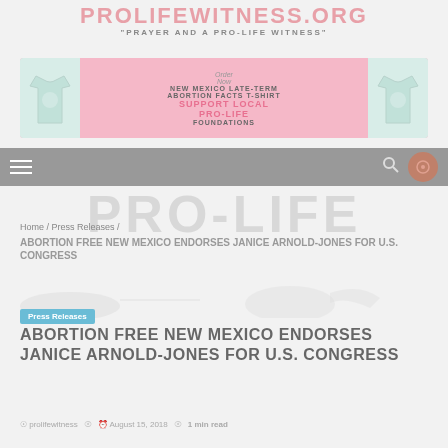PROLIFEWITNESS.ORG
"PRAYER AND A PRO-LIFE WITNESS"
[Figure (infographic): Pink advertisement banner for New Mexico Late-Term Abortion Facts T-Shirt with t-shirt images on each side and 'Order Now' text, promoting Pro-Life Foundations]
[Figure (screenshot): Gray navigation bar with hamburger menu icon on left and search/profile icons on right]
[Figure (illustration): PRO-LIFE large watermark text with decorative dove/bird imagery]
Home / Press Releases /
ABORTION FREE NEW MEXICO ENDORSES JANICE ARNOLD-JONES FOR U.S. CONGRESS
Press Releases
ABORTION FREE NEW MEXICO ENDORSES JANICE ARNOLD-JONES FOR U.S. CONGRESS
prolifewitness   August 15, 2018   1 min read